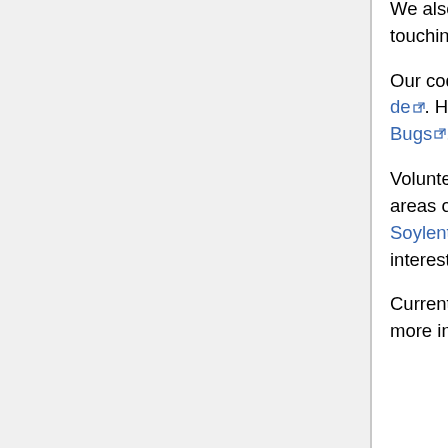We also seek non-perl devs, there is plenty of stuff that you can do without touching the code too much.
Our code is hosted on GitHub at https://github.com/SoylentNews/slashcode. Have a look and see how you can contribute. Bugs are now on GitHub Bugs.
Volunteers should send an email to dev@soylentnews.org expressing your areas of interest and what your coding strengths are. Also you can hop onto SoylentNews:IRC and join the #dev channel. Come by and express your interest to paulej72, audioguy, or mrcoolbp.
Currently we are undergoing a bit of a reorganization and we hope to have more information available here soon